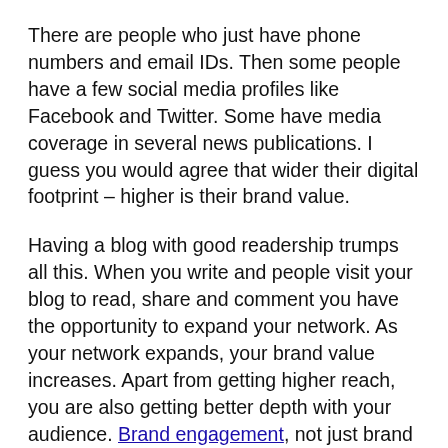There are people who just have phone numbers and email IDs. Then some people have a few social media profiles like Facebook and Twitter. Some have media coverage in several news publications. I guess you would agree that wider their digital footprint – higher is their brand value.
Having a blog with good readership trumps all this. When you write and people visit your blog to read, share and comment you have the opportunity to expand your network. As your network expands, your brand value increases. Apart from getting higher reach, you are also getting better depth with your audience. Brand engagement, not just brand impressions.
And you are engaging your audience on a deeper